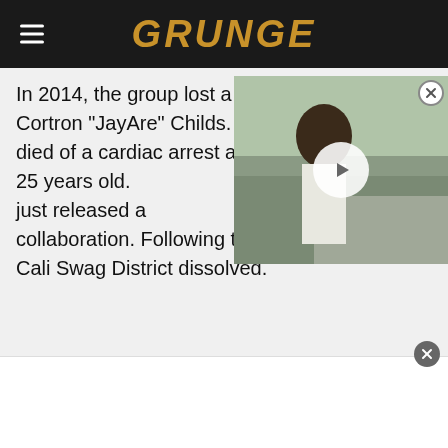GRUNGE
In 2014, the group lost a second member, Cortron "JayAre" Childs. He was suffering and died of a cardiac arrest at the hospital. He was 25 years old. At the time, the group had just released a Nipsey Hussle collaboration. Following these two tragedies, Cali Swag District dissolved.
[Figure (photo): Video thumbnail showing a man with dark curly hair wearing a white hoodie, with a play button overlay. A close button (X) is visible in the top right corner of the overlay.]